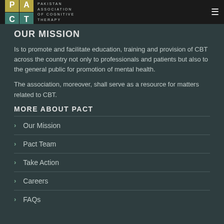PAKISTAN ASSOCIATION OF COGNITIVE THERAPY
OUR MISSION
Is to promote and facilitate education, training and provision of CBT across the country not only to professionals and patients but also to the general public for promotion of mental health.
The association, moreover, shall serve as a resource for matters related to CBT.
MORE ABOUT PACT
Our Mission
Pact Team
Take Action
Careers
FAQs